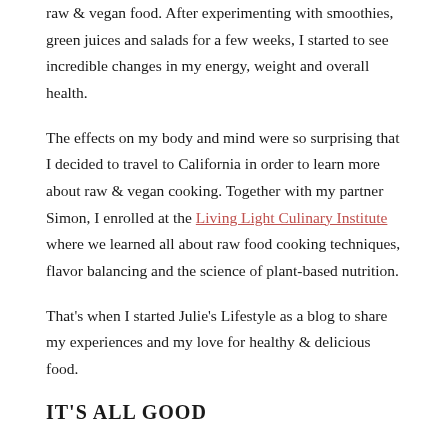raw & vegan food. After experimenting with smoothies, green juices and salads for a few weeks, I started to see incredible changes in my energy, weight and overall health.
The effects on my body and mind were so surprising that I decided to travel to California in order to learn more about raw & vegan cooking. Together with my partner Simon, I enrolled at the Living Light Culinary Institute where we learned all about raw food cooking techniques, flavor balancing and the science of plant-based nutrition.
That's when I started Julie's Lifestyle as a blog to share my experiences and my love for healthy & delicious food.
IT'S ALL GOOD